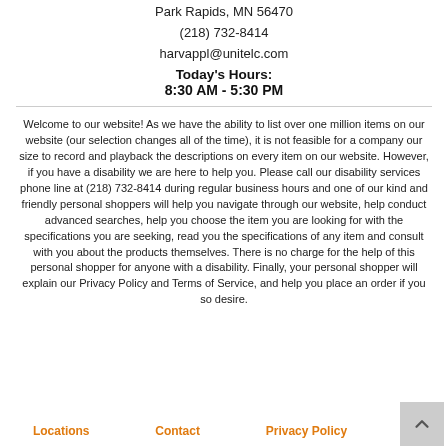Park Rapids, MN 56470
(218) 732-8414
harvappl@unitelc.com
Today's Hours:
8:30 AM - 5:30 PM
Welcome to our website! As we have the ability to list over one million items on our website (our selection changes all of the time), it is not feasible for a company our size to record and playback the descriptions on every item on our website. However, if you have a disability we are here to help you. Please call our disability services phone line at (218) 732-8414 during regular business hours and one of our kind and friendly personal shoppers will help you navigate through our website, help conduct advanced searches, help you choose the item you are looking for with the specifications you are seeking, read you the specifications of any item and consult with you about the products themselves. There is no charge for the help of this personal shopper for anyone with a disability. Finally, your personal shopper will explain our Privacy Policy and Terms of Service, and help you place an order if you so desire.
Locations   Contact   Privacy Policy